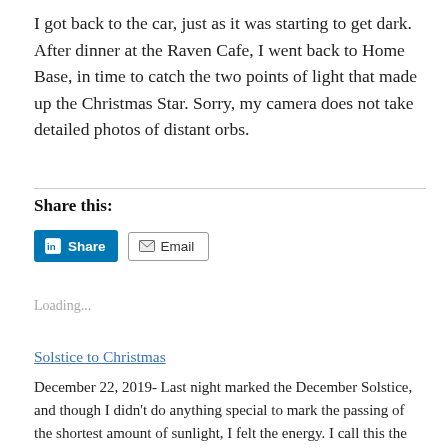I got back to the car, just as it was starting to get dark. After dinner at the Raven Cafe, I went back to Home Base, in time to catch the two points of light that made up the Christmas Star. Sorry, my camera does not take detailed photos of distant orbs.
Share this:
[Figure (other): LinkedIn Share button (blue) and Email button (grey outline) for sharing the blog post]
Loading...
Solstice to Christmas
December 22, 2019-  Last night marked the December Solstice, and though I didn't do anything special to mark the passing of the shortest amount of sunlight, I felt the energy.  I call this  the December Solstice,